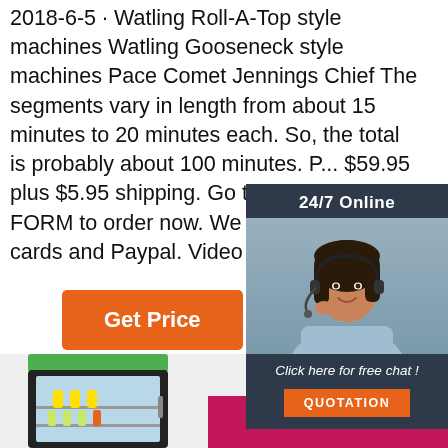2018-6-5 · Watling Roll-A-Top style machines Watling Gooseneck style machines Pace Comet Jennings Chief The segments vary in length from about 15 minutes to 20 minutes each. So, the total is probably about 100 minutes. P... $59.95 plus $5.95 shipping. Go to SEC... ORDER FORM to order now. We acce... credit cards and Paypal. Video Excerp...
[Figure (infographic): 24/7 Online chat widget with a woman wearing a headset, dark background, orange QUOTATION button, and 'Click here for free chat!' text]
[Figure (photo): A mini refrigerator/cooler with glass door showing bottles inside, green top panel, black frame, on a light gray background. Orange 'TOP' logo with dot-arc design in upper right.]
[Figure (illustration): Pink/magenta rectangular box in bottom right of the lower section]